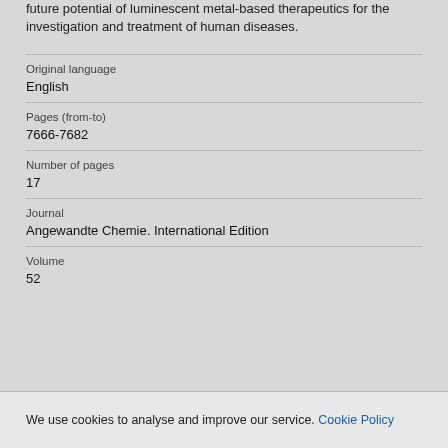future potential of luminescent metal-based therapeutics for the investigation and treatment of human diseases.
| Original language | English |
| Pages (from-to) | 7666-7682 |
| Number of pages | 17 |
| Journal | Angewandte Chemie. International Edition |
| Volume | 52 |
We use cookies to analyse and improve our service. Cookie Policy